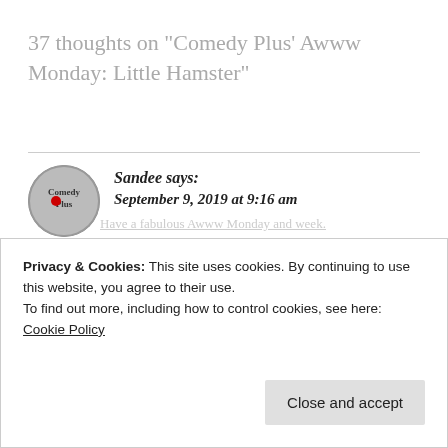37 thoughts on "Comedy Plus' Awww Monday: Little Hamster"
[Figure (logo): Comedy Plus blog logo — circular avatar with text 'Comedy Plus' and a red graphic element]
Sandee says: September 9, 2019 at 9:16 am
Awww, this reminds me of my sons love of hamsters. We had so many over the years.
Privacy & Cookies: This site uses cookies. By continuing to use this website, you agree to their use.
To find out more, including how to control cookies, see here: Cookie Policy
Close and accept